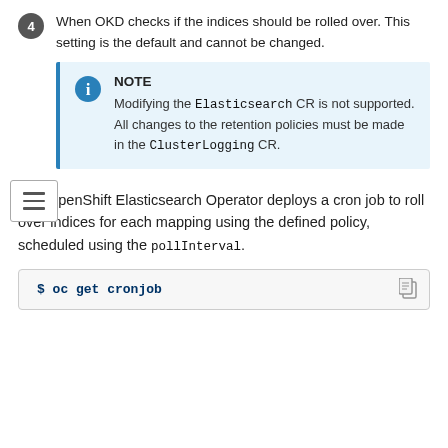When OKD checks if the indices should be rolled over. This setting is the default and cannot be changed.
NOTE
Modifying the Elasticsearch CR is not supported. All changes to the retention policies must be made in the ClusterLogging CR.
The OpenShift Elasticsearch Operator deploys a cron job to roll over indices for each mapping using the defined policy, scheduled using the pollInterval.
$ oc get cronjob